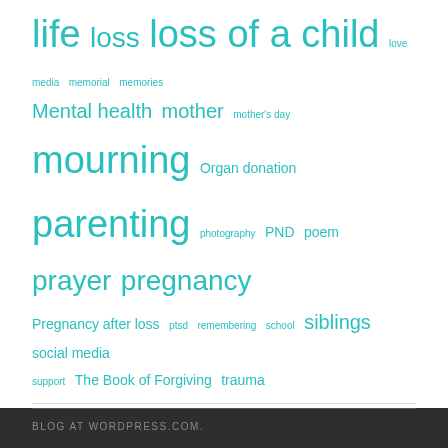life loss loss of a child love media memorial memories Mental health mother mother's day mourning Organ donation parenting photography PND poem prayer pregnancy Pregnancy after loss ptsd remembering school siblings social media support The Book of Forgiving trauma
BLOG STATS
350,328 hits
BLOG AT WORDPRESS.COM.